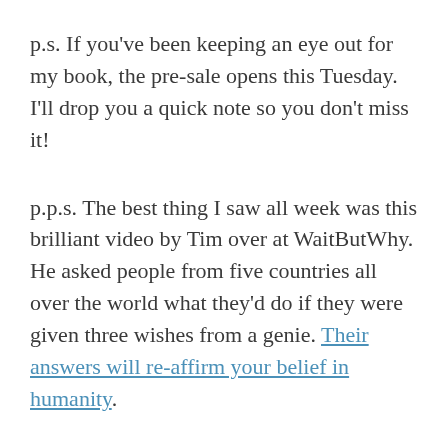p.s. If you've been keeping an eye out for my book, the pre-sale opens this Tuesday. I'll drop you a quick note so you don't miss it!
p.p.s. The best thing I saw all week was this brilliant video by Tim over at WaitButWhy. He asked people from five countries all over the world what they'd do if they were given three wishes from a genie. Their answers will re-affirm your belief in humanity.
p.p.p.s. You might be wondering if I have something specific to say about a President